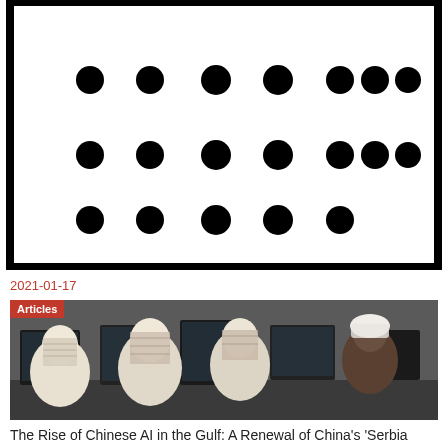[Figure (other): Black bordered rectangle on white background containing three rows of large black dots: top row has 7 dots, middle row has 7 dots, bottom row has 5 dots (trailing off), suggesting a barcode or data pattern]
2021-01-17
[Figure (photo): Photograph of several men wearing traditional Arab white thobes and keffiyeh headscarves sitting at computer workstations viewed from behind and side angles]
Articles
The Rise of Chinese AI in the Gulf: A Renewal of China's 'Serbia